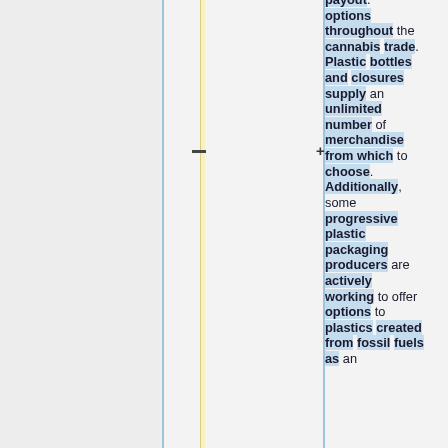payout. options throughout the cannabis trade. Plastic bottles and closures supply an unlimited number of merchandise from which to choose. Additionally, some progressive plastic packaging producers are actively working to offer options to plastics created from fossil fuels as an